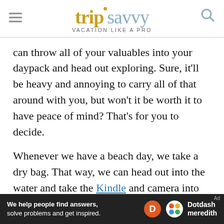tripsavvy VACATION LIKE A PRO
can throw all of your valuables into your daypack and head out exploring. Sure, it'll be heavy and annoying to carry all of that around with you, but won't it be worth it to have peace of mind? That's for you to decide.
Whenever we have a beach day, we take a dry bag. That way, we can head out into the water and take the Kindle and camera into the sea. We won't have to worry about electronics getting wet and damaged, about someone stealing things from the towel, or belongings getting blown away by a gust of wind. By keeping your
[Figure (other): Dotdash Meredith advertisement banner: 'We help people find answers, solve problems and get inspired.']